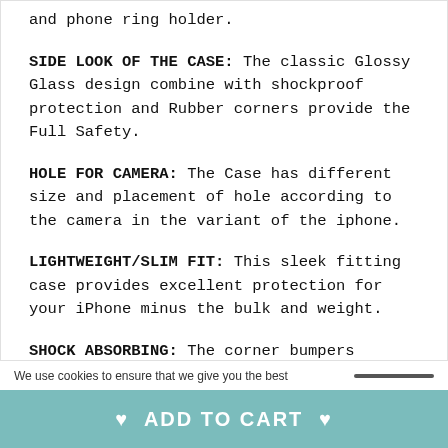and phone ring holder.
SIDE LOOK OF THE CASE: The classic Glossy Glass design combine with shockproof protection and Rubber corners provide the Full Safety.
HOLE FOR CAMERA: The Case has different size and placement of hole according to the camera in the variant of the iphone.
LIGHTWEIGHT/SLIM FIT: This sleek fitting case provides excellent protection for your iPhone minus the bulk and weight.
SHOCK ABSORBING: The corner bumpers protect your iPhone from accidental drops while the durable, soft material offers reliable protection from any other types of unintentional impact.
We use cookies to ensure that we give you the best
♥ ADD TO CART ♥